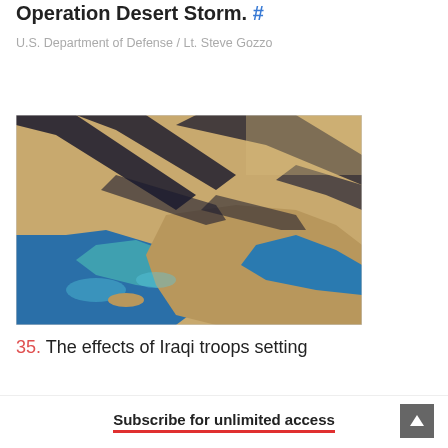Operation Desert Storm. #
U.S. Department of Defense / Lt. Steve Gozzo
[Figure (photo): Aerial/satellite photograph showing oil smoke plumes over the Persian Gulf region during Operation Desert Storm, with dark streaks across sandy desert terrain and blue water body visible.]
35. The effects of Iraqi troops setting
Subscribe for unlimited access